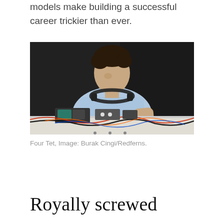models make building a successful career trickier than ever.
[Figure (photo): A man in a light blue t-shirt with headphones around his neck, leaning over DJ equipment with many cables, against a dark background. Photo of Four Tet.]
Four Tet, Image: Burak Cingi/Redferns.
Royally screwed